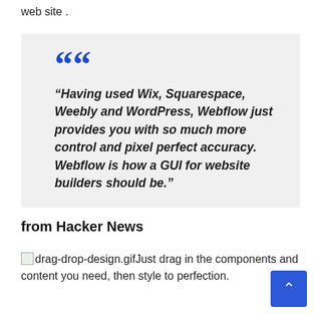web site .
“Having used Wix, Squarespace, Weebly and WordPress, Webflow just provides you with so much more control and pixel perfect accuracy. Webflow is how a GUI for website builders should be.”
from Hacker News
drag-drop-design.gifJust drag in the components and content you need, then style to perfection.